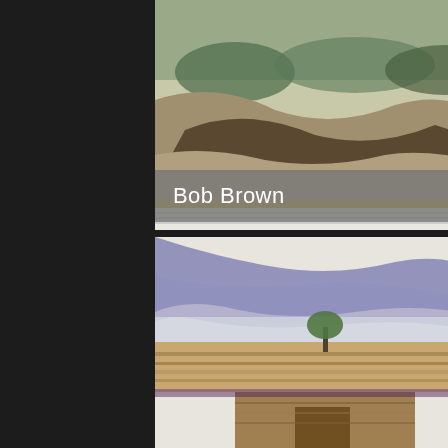[Figure (photo): Painting by Bob Brown - landscape with rocky terrain and a gold frame border at bottom]
Bob Brown
[Figure (photo): Painting by Bob Brown - landscape with reddish-brown hill/sand dune and gray stormy sky]
Bob Brown
[Figure (photo): Watercolor painting - landscape with purple-blue cloudy sky, flat plains, lone tree, and wooden structure/barn]
[Figure (photo): Watercolor painting - abstract cubist-style view of buildings/rooftops with teal, yellow and brown geometric shapes, Facebook icon overlaid]